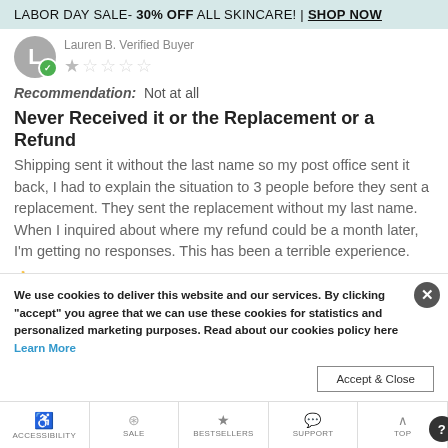LABOR DAY SALE- 30% OFF ALL SKINCARE! | SHOP NOW
Lauren B. Verified Buyer
1 out of 5 stars
Recommendation: Not at all
Never Received it or the Replacement or a Refund
Shipping sent it without the last name so my post office sent it back, I had to explain the situation to 3 people before they sent a replacement. They sent the replacement without my last name. When I inquired about where my refund could be a month later, I'm getting no responses. This has been a terrible experience.
We use cookies to deliver this website and our services. By clicking "accept" you agree that we can use these cookies for statistics and personalized marketing purposes. Read about our cookies policy here Learn More
Accept & Close
ACCESSIBILITY | SALE | BESTSELLERS | SUPPORT | TOP